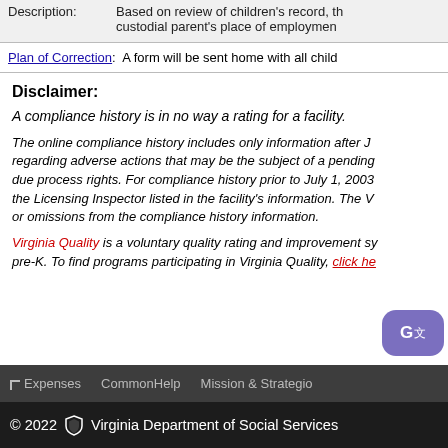|  |  |
| --- | --- |
| Description: | Based on review of children's record, the custodial parent's place of employment |
Plan of Correction:  A form will be sent home with all child
Disclaimer:
A compliance history is in no way a rating for a facility.
The online compliance history includes only information after J... regarding adverse actions that may be the subject of a pending... due process rights. For compliance history prior to July 1, 2003... the Licensing Inspector listed in the facility's information. The V... or omissions from the compliance history information.
Virginia Quality is a voluntary quality rating and improvement sy... pre-K. To find programs participating in Virginia Quality, click he...
Expenses   CommonHelp   Mission & Strategic
© 2022  Virginia Department of Social Services